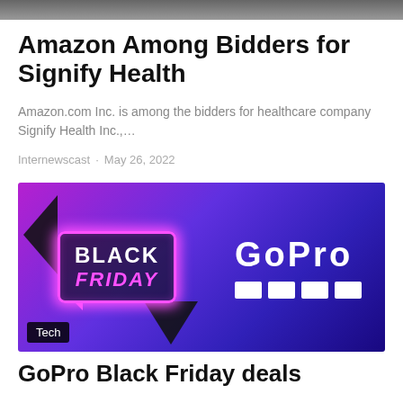[Figure (photo): Top partial image, mostly obscured]
Amazon Among Bidders for Signify Health
Amazon.com Inc. is among the bidders for healthcare company Signify Health Inc.,...
Internewscast · May 26, 2022
[Figure (photo): Black Friday GoPro promotional image with neon pink speech bubble badge and GoPro logo on purple/blue gradient background. Tech label at bottom left.]
GoPro Black Friday deals